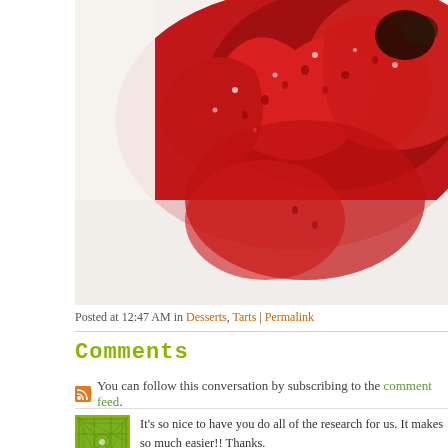[Figure (photo): Close-up photo of red strawberries with sugar/glaze, food blog image for a tart/dessert post]
Posted at 12:47 AM in Desserts, Tarts | Permalink
Comments
You can follow this conversation by subscribing to the comment feed.
It's so nice to have you do all of the research for us. It makes so much easier!! Thanks.
Posted by: MBT Shoes | July 22, 2011 at 04:33 AM
« Older
The comments to this entry are closed.